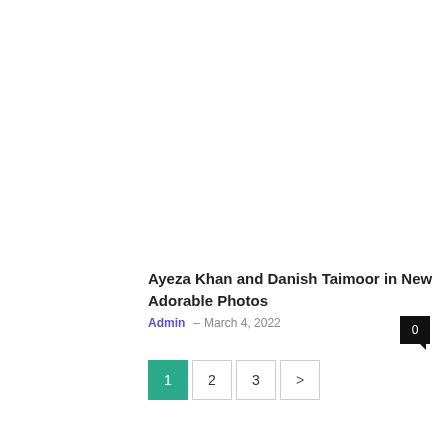Ayeza Khan and Danish Taimoor in New Adorable Photos
Admin – March 4, 2022
0
1 2 3 >